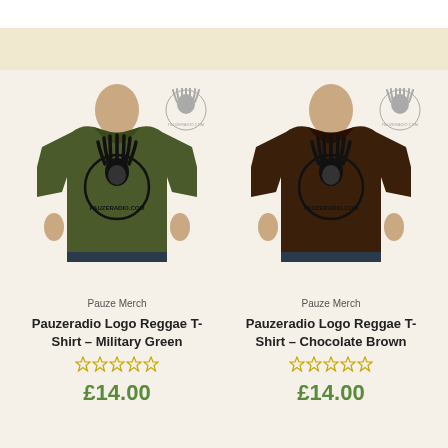[Figure (photo): Military green t-shirt with Pauzeradio.com logo worn by male model, with Pauzeradio watermark in top right corner]
Pauze Merch
Pauzeradio Logo Reggae T-Shirt – Military Green
£14.00
[Figure (photo): Chocolate brown t-shirt with Pauzeradio.com logo worn by male model, with Pauzeradio watermark in top right corner]
Pauze Merch
Pauzeradio Logo Reggae T-Shirt – Chocolate Brown
£14.00